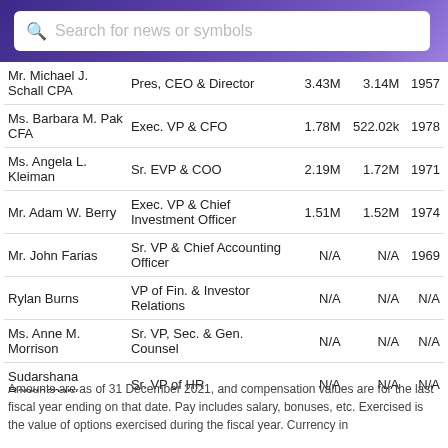Search for news or symbols
| Name | Title | Pay | Exercised | Year Born |
| --- | --- | --- | --- | --- |
| Mr. Michael J. Schall CPA | Pres, CEO & Director | 3.43M | 3.14M | 1957 |
| Ms. Barbara M. Pak CFA | Exec. VP & CFO | 1.78M | 522.02k | 1978 |
| Ms. Angela L. Kleiman | Sr. EVP & COO | 2.19M | 1.72M | 1971 |
| Mr. Adam W. Berry | Exec. VP & Chief Investment Officer | 1.51M | 1.52M | 1974 |
| Mr. John Farias | Sr. VP & Chief Accounting Officer | N/A | N/A | 1969 |
| Rylan Burns | VP of Fin. & Investor Relations | N/A | N/A | N/A |
| Ms. Anne M. Morrison | Sr. VP, Sec. & Gen. Counsel | N/A | N/A | N/A |
| Sudarshana Rangachary | Sr. VP of HR | N/A | N/A | N/A |
| Mr. Jeff Lambert | Sr. VP of Devel. | N/A | N/A | N/A |
Amounts are as of 31 December 2021, and compensation values are for the last fiscal year ending on that date. Pay includes salary, bonuses, etc. Exercised is the value of options exercised during the fiscal year. Currency in